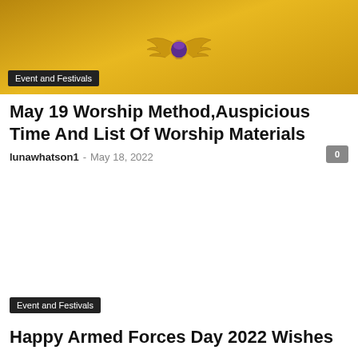[Figure (photo): Yellow/gold background with an Egyptian winged scarab ornament centered in the image]
Event and Festivals
May 19 Worship Method,Auspicious Time And List Of Worship Materials
lunawhatson1 - May 18, 2022
[Figure (photo): White/blank image area]
Event and Festivals
Happy Armed Forces Day 2022 Wishes